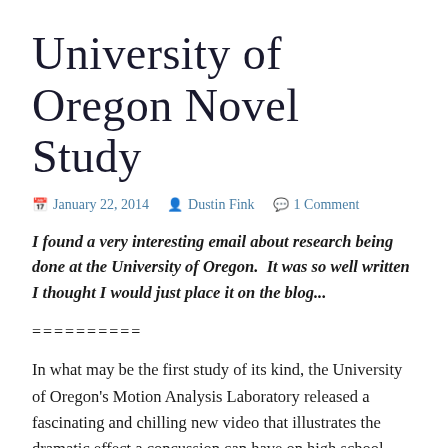University of Oregon Novel Study
January 22, 2014   Dustin Fink   1 Comment
I found a very interesting email about research being done at the University of Oregon.  It was so well written I thought I would just place it on the blog...
==========
In what may be the first study of its kind, the University of Oregon's Motion Analysis Laboratory released a fascinating and chilling new video that illustrates the dramatic effect a concussion can have on high school athletes' ability to control balance while walking